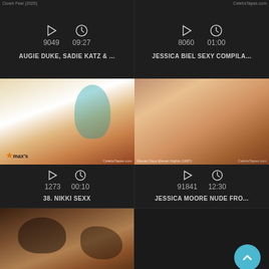[Figure (screenshot): Video thumbnail grid - top left card, dark background with play icon, views 9049, duration 09:27, title AUGIE DUKE, SADIE KATZ & ...]
[Figure (screenshot): Video thumbnail grid - top right card, dark background with play icon, views 8060, duration 01:00, title JESSICA BIEL SEXY COMPILA...]
[Figure (screenshot): Video thumbnail - woman in teal bikini top with star/max's logo overlay, views 1273, duration 00:10, title 38. NIKKI SEXX]
[Figure (screenshot): Video thumbnail - film still from Eleven Days Eleven Nights (1987), views 91841, duration 12:30, title JESSICA MOORE NUDE FRO...]
[Figure (screenshot): Video thumbnail - couple in intimate scene, bottom left card, partially visible]
[Figure (screenshot): Back to top button - cyan circle with chevron up arrow, bottom right area]